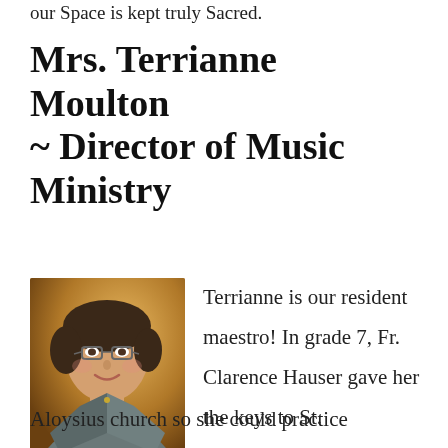our Space is kept truly Sacred.
Mrs. Terrianne Moulton ~ Director of Music Ministry
[Figure (photo): Portrait photo of Mrs. Terrianne Moulton, a woman with short dark hair, wearing glasses and a grey jacket, smiling at the camera against a warm brown/orange background.]
Terrianne is our resident maestro! In grade 7, Fr. Clarence Hauser gave her the keys to St.
Aloysius church so she could practice